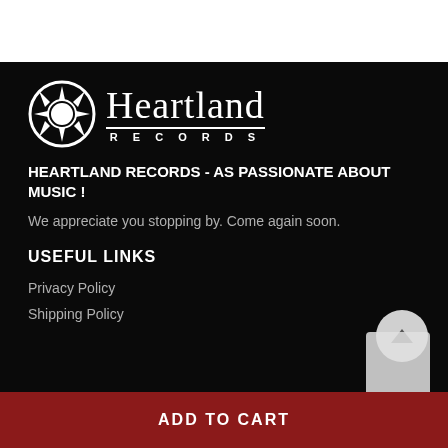[Figure (logo): Heartland Records logo: circular sun/compass icon on left, large serif text 'Heartland' with 'RECORDS' below in spaced caps, white on black background]
HEARTLAND RECORDS - AS PASSIONATE ABOUT MUSIC !
We appreciate you stopping by. Come again soon.
USEFUL LINKS
Privacy Policy
Shipping Policy
ADD TO CART